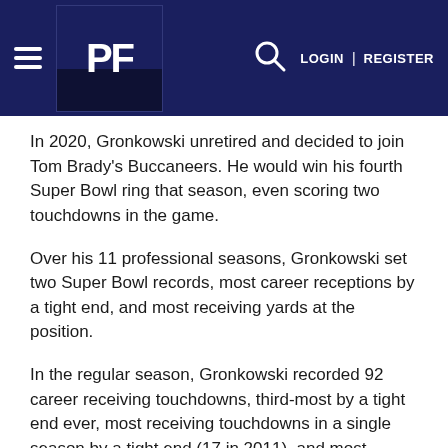PF — LOGIN | REGISTER
In 2020, Gronkowski unretired and decided to join Tom Brady's Buccaneers. He would win his fourth Super Bowl ring that season, even scoring two touchdowns in the game.
Over his 11 professional seasons, Gronkowski set two Super Bowl records, most career receptions by a tight end, and most receiving yards at the position.
In the regular season, Gronkowski recorded 92 career receiving touchdowns, third-most by a tight end ever, most receiving touchdowns in a single season by a tight end (17 in 2011), and most seasons with at least ten receiving touchdowns by a tight end (5).
Former teammates, players around the league, media members, and other Gronk connections all shared their